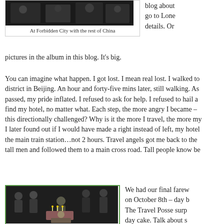[Figure (photo): Group photo at Forbidden City with other tourists, dark/black and white toned image]
At Forbidden City with the rest of China
blog about go to Lone details. Or pictures in the album in this blog. It's big.
You can imagine what happen. I got lost. I mean real lost. I walked to district in Beijing. An hour and forty-five mins later, still walking. As passed, my pride inflated. I refused to ask for help. I refused to hail a find my hotel, no matter what. Each step, the more angry I became – this directionally challenged? Why is it the more I travel, the more my I later found out if I would have made a right instead of left, my hotel the main train station…not 2 hours. Travel angels got me back to the tall men and followed them to a main cross road. Tall people know be
[Figure (photo): Group of people around a table with a birthday cake with candles, indoor party setting]
We had our final farew on October 8th – day b The Travel Posse surp day cake. Talk about s surprised the cake tast very sad to leave them group. It's always abo you travel. Olive was